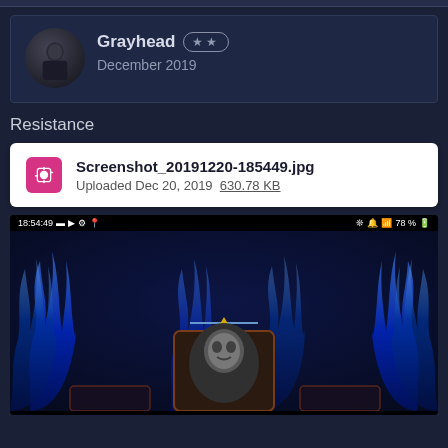Grayhead ★★ December 2019
Resistance
Screenshot_20191220-185449.jpg
Uploaded Dec 20, 2019  630.78 KB
[Figure (screenshot): Mobile game screenshot showing a dark fantasy game interface with blue flames, a character card with a black and white portrait, and a status bar showing 18:54:49 and 78% battery]